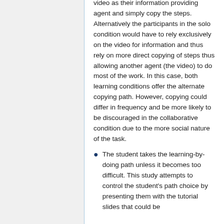video as their information providing agent and simply copy the steps. Alternatively the participants in the solo condition would have to rely exclusively on the video for information and thus rely on more direct copying of steps thus allowing another agent (the video) to do most of the work. In this case, both learning conditions offer the alternate copying path. However, copying could differ in frequency and be more likely to be discouraged in the collaborative condition due to the more social nature of the task.
The student takes the learning-by-doing path unless it becomes too difficult. This study attempts to control the student's path choice by presenting them with the tutorial slides that could be...